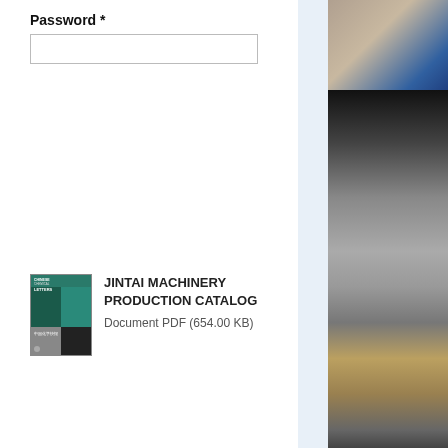Password *
[Figure (photo): Industrial/machinery photo top portion showing equipment with blue structure]
[Figure (photo): Industrial/machinery photo bottom portion showing blurred industrial scene with smoke or steam]
[Figure (photo): Thumbnail of Chinese Chemical Letters journal cover used as document icon]
JINTAI MACHINERY PRODUCTION CATALOG
Document PDF (654.00 KB)